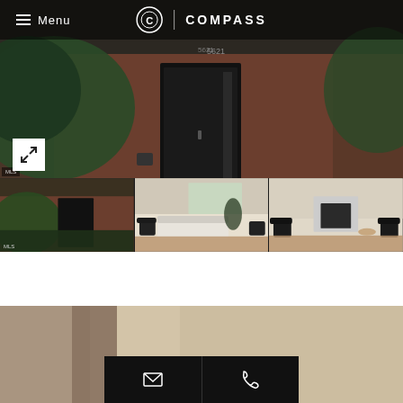[Figure (screenshot): Compass real estate website screenshot showing a brick house exterior with a black front door, surrounding greenery. Header bar shows hamburger menu with 'Menu' text and Compass logo. An expand/fullscreen button is shown at bottom-left. Three thumbnail images are shown at the bottom of the main photo (exterior, living room interior, living room interior). Below the photos is a white gap, then a partial image of an interior room, with two contact buttons (email and phone) overlaid in a black bar.]
Menu  COMPASS
Menu
COMPASS
[Figure (photo): Main listing photo: brick mid-century modern house exterior with black front door, flanked by lush greenery and ornamental grasses]
[Figure (photo): Thumbnail 1: Exterior side view of brick house with greenery]
[Figure (photo): Thumbnail 2: Interior living room with white sofa, black chairs, and large windows]
[Figure (photo): Thumbnail 3: Interior living room with fireplace, black chairs]
[Figure (photo): Partial bottom section showing a blurred warm-toned interior image]
Email and phone contact buttons